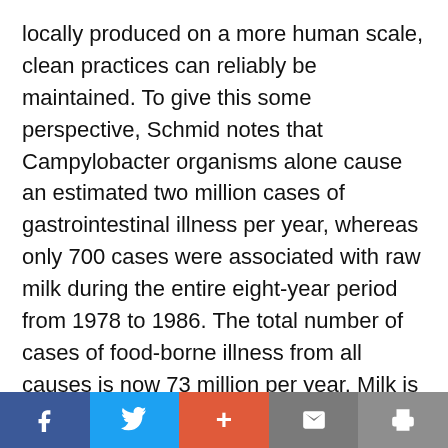locally produced on a more human scale, clean practices can reliably be maintained. To give this some perspective, Schmid notes that Campylobacter organisms alone cause an estimated two million cases of gastrointestinal illness per year, whereas only 700 cases were associated with raw milk during the entire eight-year period from 1978 to 1986. The total number of cases of food-borne illness from all causes is now 73 million per year. Milk is not a uniquely hazardous food and should not be treated as such. Schmid makes a strong appeal for a level playing field for raw milk producers.
Facebook | Twitter | + | Mail | Print